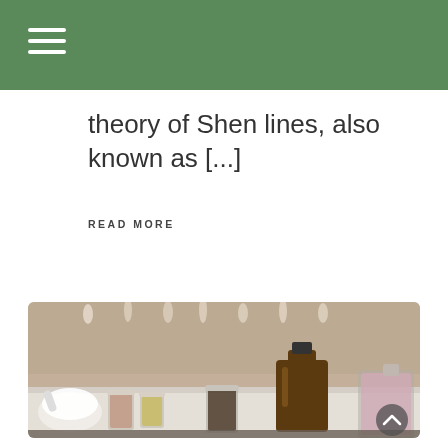theory of Shen lines, also known as [...]
READ MORE
[Figure (photo): Apothecary-style photo showing various glass bottles and jars containing herbs, essential oils, and dried botanicals arranged on a white marble surface, with a mortar and pestle on the left side and a large dark amber bottle prominently in the center-right.]